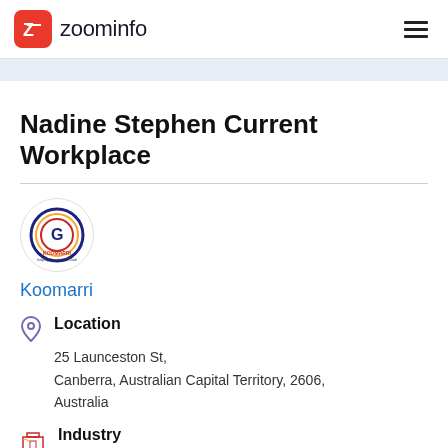[Figure (logo): ZoomInfo logo with red square icon containing a Z and the text 'zoominfo']
Nadine Stephen Current Workplace
[Figure (logo): Koomarri company logo in a circle]
Koomarri
Location
25 Launceston St,
Canberra, Australian Capital Territory, 2606,
Australia
Industry